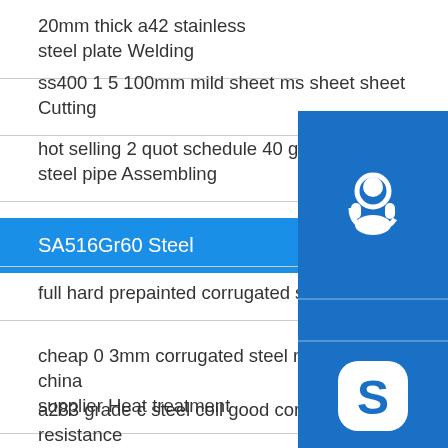20mm thick a42 stainless steel plate Welding
ss400 1 5 100mm mild sheet ms sheet sheet Cutting
hot selling 2 quot schedule 40 galvanized round steel pipe Assembling
SA516Gr60 Steel
full hard prepainted corrugated steel ppgi Grinding
cheap 0 3mm corrugated steel roofing sheet of china supplier Heat treatment
a283 grade c steel coil good corrosion resistance exporter Hole drilling
steel grade an overview sciencedirect topics